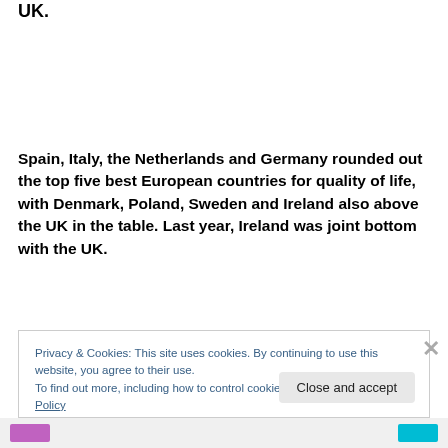UK.
Spain, Italy, the Netherlands and Germany rounded out the top five best European countries for quality of life, with Denmark, Poland, Sweden and Ireland also above the UK in the table. Last year, Ireland was joint bottom with the UK.
Privacy & Cookies: This site uses cookies. By continuing to use this website, you agree to their use.
To find out more, including how to control cookies, see here: Cookie Policy